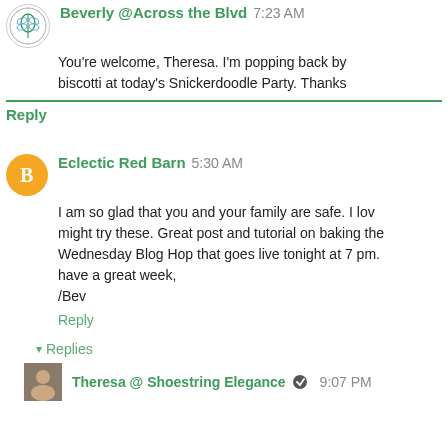Beverly @Across the Blvd 7:23 AM
You're welcome, Theresa. I'm popping back by biscotti at today's Snickerdoodle Party. Thanks
Reply
Eclectic Red Barn 5:30 AM
I am so glad that you and your family are safe. I lov might try these. Great post and tutorial on baking the Wednesday Blog Hop that goes live tonight at 7 pm. have a great week, /Bev
Reply
Replies
Theresa @ Shoestring Elegance 9:07 PM